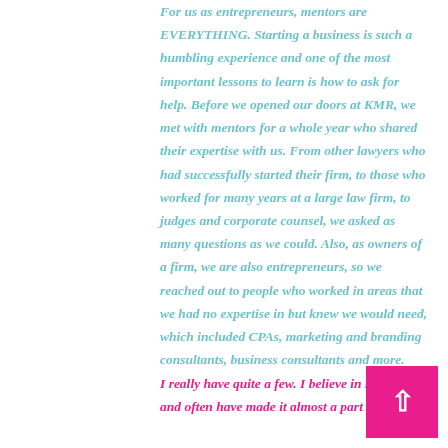For us as entrepreneurs, mentors are EVERYTHING. Starting a business is such a humbling experience and one of the most important lessons to learn is how to ask for help. Before we opened our doors at KMR, we met with mentors for a whole year who shared their expertise with us. From other lawyers who had successfully started their firm, to those who worked for many years at a large law firm, to judges and corporate counsel, we asked as many questions as we could. Also, as owners of a firm, we are also entrepreneurs, so we reached out to people who worked in areas that we had no expertise in but knew we would need, which included CPAs, marketing and branding consultants, business consultants and more. I really have quite a few. I believe in networking and often have made it almost a part time job.